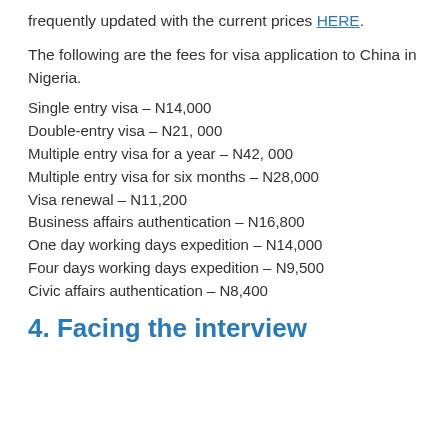frequently updated with the current prices HERE.
The following are the fees for visa application to China in Nigeria.
Single entry visa – N14,000
Double-entry visa – N21, 000
Multiple entry visa for a year – N42, 000
Multiple entry visa for six months – N28,000
Visa renewal – N11,200
Business affairs authentication – N16,800
One day working days expedition – N14,000
Four days working days expedition – N9,500
Civic affairs authentication – N8,400
4. Facing the interview